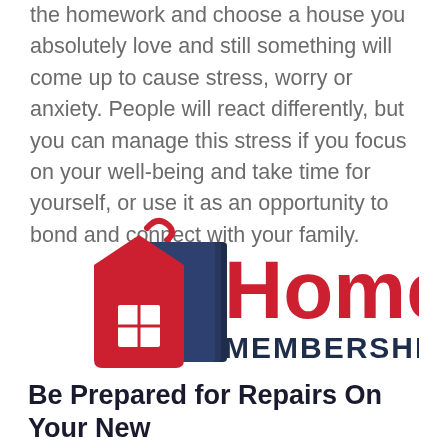the homework and choose a house you absolutely love and still something will come up to cause stress, worry or anxiety. People will react differently, but you can manage this stress if you focus on your well-being and take time for yourself, or use it as an opportunity to bond and connect with your family.
[Figure (logo): Home Membership logo: a red house/price-tag shape with a white window grid and a dark navy book/pages graphic on the right side of the tag, with a red hook/hanger on top. To the right, large red text 'Home' and below it dark navy bold text 'MEMBERSHIP'.]
Be Prepared for Repairs On Your New